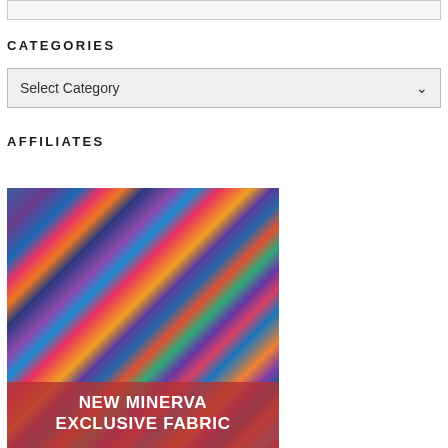CATEGORIES
Select Category
AFFILIATES
[Figure (photo): Colorful fabric swatches fanned out with text overlay reading NEW MINERVA EXCLUSIVE FABRIC]